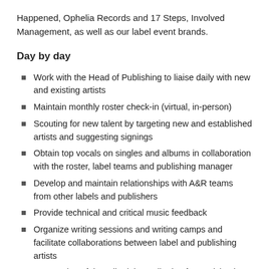Happened, Ophelia Records and 17 Steps, Involved Management, as well as our label event brands.
Day by day
Work with the Head of Publishing to liaise daily with new and existing artists
Maintain monthly roster check-in (virtual, in-person)
Scouting for new talent by targeting new and established artists and suggesting signings
Obtain top vocals on singles and albums in collaboration with the roster, label teams and publishing manager
Develop and maintain relationships with A&R teams from other labels and publishers
Provide technical and critical music feedback
Organize writing sessions and writing camps and facilitate collaborations between label and publishing artists
Preparation of the editorial contribution for participation in the label's A&R meetings